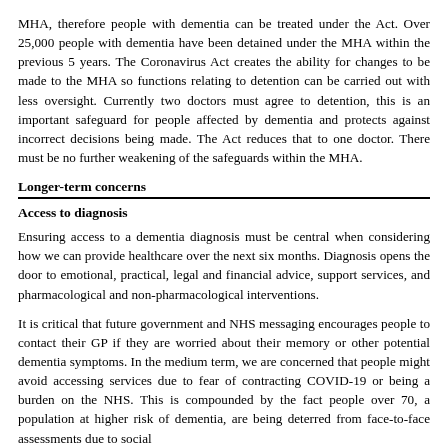MHA, therefore people with dementia can be treated under the Act. Over 25,000 people with dementia have been detained under the MHA within the previous 5 years. The Coronavirus Act creates the ability for changes to be made to the MHA so functions relating to detention can be carried out with less oversight. Currently two doctors must agree to detention, this is an important safeguard for people affected by dementia and protects against incorrect decisions being made. The Act reduces that to one doctor. There must be no further weakening of the safeguards within the MHA.
Longer-term concerns
Access to diagnosis
Ensuring access to a dementia diagnosis must be central when considering how we can provide healthcare over the next six months. Diagnosis opens the door to emotional, practical, legal and financial advice, support services, and pharmacological and non-pharmacological interventions.
It is critical that future government and NHS messaging encourages people to contact their GP if they are worried about their memory or other potential dementia symptoms. In the medium term, we are concerned that people might avoid accessing services due to fear of contracting COVID-19 or being a burden on the NHS. This is compounded by the fact people over 70, a population at higher risk of dementia, are being deterred from face-to-face assessments due to social